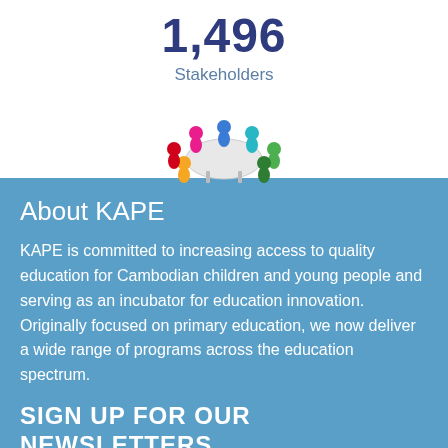1,496 Stakeholders
[Figure (illustration): Colorful cartoon figures of people sitting around a round table]
About KAPE
KAPE is committed to increasing access to quality education for Cambodian children and young people and serving as an incubator for education innovation.  Originally focused on primary education, we now deliver a wide range of programs across the education spectrum.
SIGN UP FOR OUR NEWSLETTERS